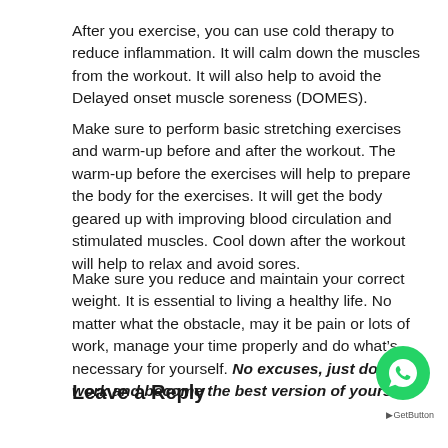After you exercise, you can use cold therapy to reduce inflammation. It will calm down the muscles from the workout. It will also help to avoid the Delayed onset muscle soreness (DOMES).
Make sure to perform basic stretching exercises and warm-up before and after the workout. The warm-up before the exercises will help to prepare the body for the exercises. It will get the body geared up with improving blood circulation and stimulated muscles. Cool down after the workout will help to relax and avoid sores.
Make sure you reduce and maintain your correct weight. It is essential to living a healthy life. No matter what the obstacle, may it be pain or lots of work, manage your time properly and do what’s necessary for yourself. No excuses, just do the work and become the best version of yourself!
Leave a Reply
[Figure (logo): WhatsApp chat button (green circle with phone/message icon)]